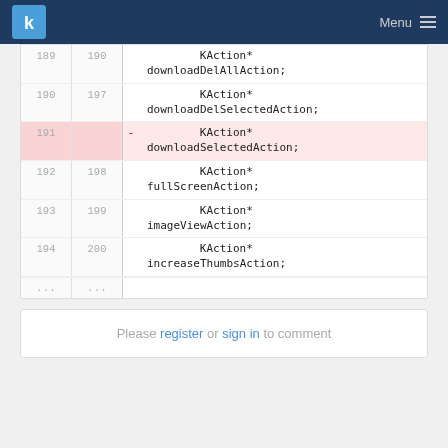KDE Menu
Code diff showing lines 189-194 (old) / 190-200 (new) with a deleted line 191: downloadSelectedAction removed
Please register or sign in to comment